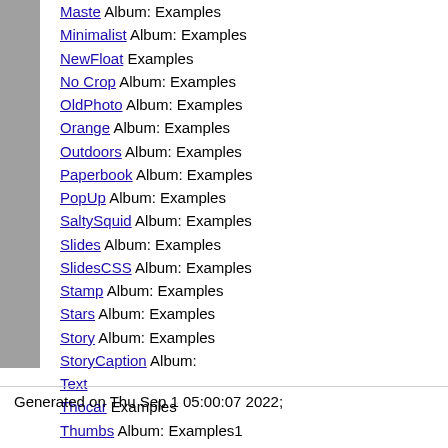Maste Album: Examples
Minimalist Album: Examples
NewFloat Examples
No Crop Album: Examples
OldPhoto Album: Examples
Orange Album: Examples
Outdoors Album: Examples
Paperbook Album: Examples
PopUp Album: Examples
SaltySquid Album: Examples
Slides Album: Examples
SlidesCSS Album: Examples
Stamp Album: Examples
Stars Album: Examples
Story Album: Examples
StoryCaption Album:
Text
Thocar Examples
Thumbs Album: Examples1
Uptight Album: Examples
W Peterman Album: Examples
Generated on Thu Sep 1 05:00:07 2022;